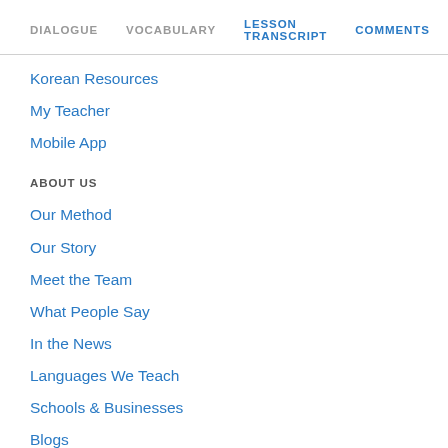DIALOGUE   VOCABULARY   LESSON TRANSCRIPT   COMMENTS
Korean Resources
My Teacher
Mobile App
ABOUT US
Our Method
Our Story
Meet the Team
What People Say
In the News
Languages We Teach
Schools & Businesses
Blogs
Affiliate Program